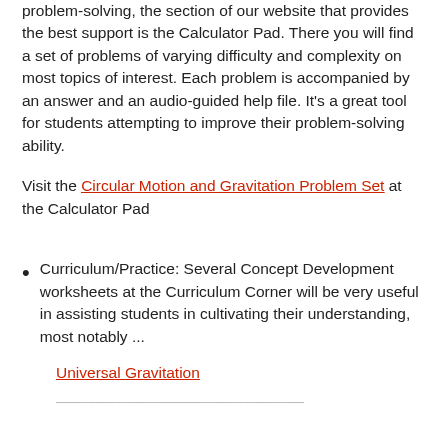problem-solving, the section of our website that provides the best support is the Calculator Pad. There you will find a set of problems of varying difficulty and complexity on most topics of interest. Each problem is accompanied by an answer and an audio-guided help file. It's a great tool for students attempting to improve their problem-solving ability.
Visit the Circular Motion and Gravitation Problem Set at the Calculator Pad
Curriculum/Practice: Several Concept Development worksheets at the Curriculum Corner will be very useful in assisting students in cultivating their understanding, most notably ...
Universal Gravitation